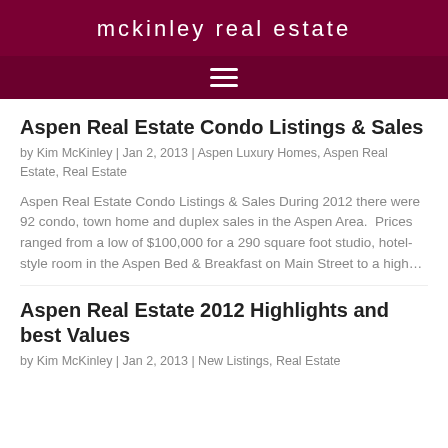mckinley real estate
Aspen Real Estate Condo Listings & Sales
by Kim McKinley | Jan 2, 2013 | Aspen Luxury Homes, Aspen Real Estate, Real Estate
Aspen Real Estate Condo Listings & Sales During 2012 there were 92 condo, town home and duplex sales in the Aspen Area.  Prices ranged from a low of $100,000 for a 290 square foot studio, hotel-style room in the Aspen Bed & Breakfast on Main Street to a high…
Aspen Real Estate 2012 Highlights and best Values
by Kim McKinley | Jan 2, 2013 | New Listings, Real Estate